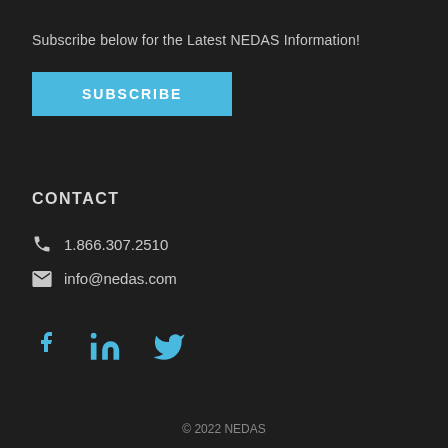Subscribe below for the Latest NEDAS Information!
[Figure (other): Blue SUBSCRIBE button]
CONTACT
1.866.307.2510
info@nedas.com
[Figure (other): Social media icons: Facebook, LinkedIn, Twitter in blue]
[Figure (other): Chevron up arrow icon]
© 2022 NEDAS